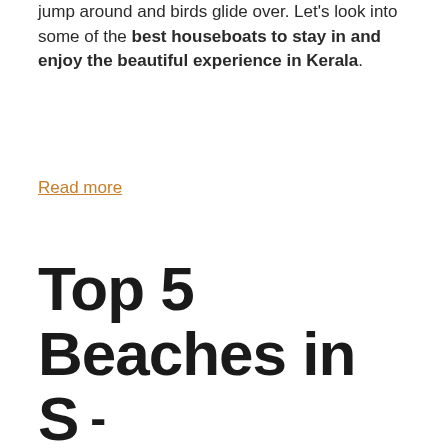jump around and birds glide over. Let's look into some of the best houseboats to stay in and enjoy the beautiful experience in Kerala.
Read more
Top 5 Beaches in